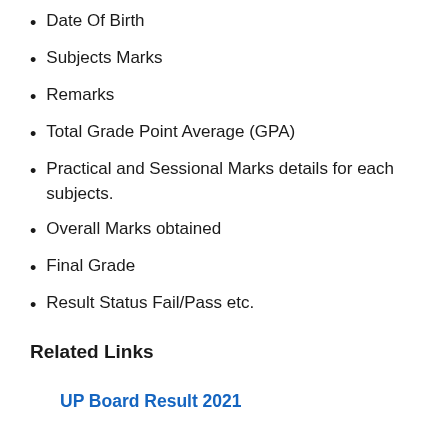Date Of Birth
Subjects Marks
Remarks
Total Grade Point Average (GPA)
Practical and Sessional Marks details for each subjects.
Overall Marks obtained
Final Grade
Result Status Fail/Pass etc.
Related Links
UP Board Result 2021